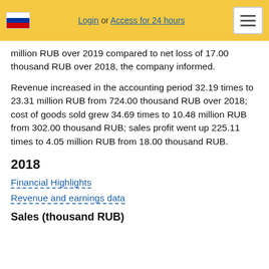Login or Access for 24 hours
million RUB over 2019 compared to net loss of 17.00 thousand RUB over 2018, the company informed.
Revenue increased in the accounting period 32.19 times to 23.31 million RUB from 724.00 thousand RUB over 2018; cost of goods sold grew 34.69 times to 10.48 million RUB from 302.00 thousand RUB; sales profit went up 225.11 times to 4.05 million RUB from 18.00 thousand RUB.
2018
Financial Highlights
Revenue and earnings data
Sales (thousand RUB)